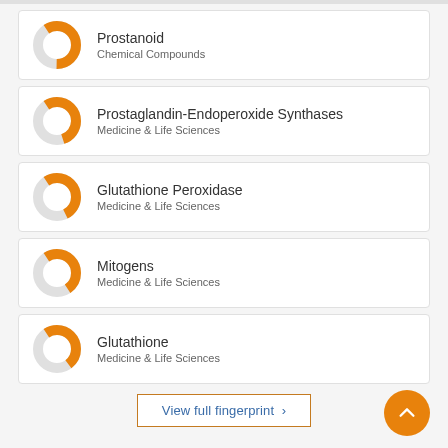Prostanoid — Chemical Compounds
Prostaglandin-Endoperoxide Synthases — Medicine & Life Sciences
Glutathione Peroxidase — Medicine & Life Sciences
Mitogens — Medicine & Life Sciences
Glutathione — Medicine & Life Sciences
View full fingerprint >